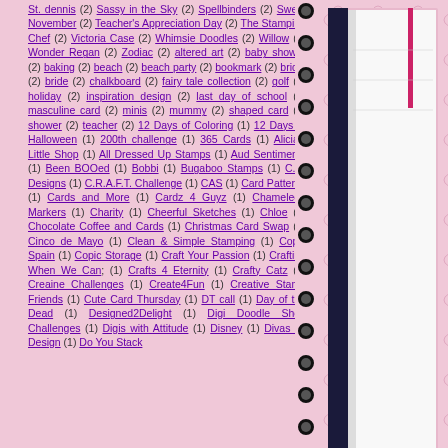St. dennis (2) Sassy in the Sky (2) Spellbinders (2) Sweet November (2) Teacher's Appreciation Day (2) The Stamping Chef (2) Victoria Case (2) Whimsie Doodles (2) Willow (2) Wonder Regan (2) Zodiac (2) altered art (2) baby shower (2) baking (2) beach (2) beach party (2) bookmark (2) bridal (2) bride (2) chalkboard (2) fairy tale collection (2) golf (2) holiday (2) inspiration design (2) last day of school (2) masculine card (2) minis (2) mummy (2) shaped card (2) shower (2) teacher (2) 12 Days of Coloring (1) 12 Days of Halloween (1) 200th challenge (1) 365 Cards (1) Alicia's Little Shop (1) All Dressed Up Stamps (1) Aud Sentiments (1) Been BOOed (1) Bobbi (1) Bugaboo Stamps (1) C.C. Designs (1) C.R.A.F.T. Challenge (1) CAS (1) Card Patterns (1) Cards and More (1) Cardz 4 Guyz (1) Chameleon Markers (1) Charity (1) Cheerful Sketches (1) Chloe (1) Chocolate Coffee and Cards (1) Christmas Card Swap (1) Cinco de Mayo (1) Clean & Simple Stamping (1) Copic Spain (1) Copic Storage (1) Craft Your Passion (1) Crafting When We Can; (1) Crafts 4 Eternity (1) Crafty Catz (1) Creaine Challenges (1) Create4Fun (1) Creative Stamp Friends (1) Cute Card Thursday (1) DT call (1) Day of the Dead (1) Designed2Delight (1) Digi Doodle Shop Challenges (1) Digis with Attitude (1) Disney (1) Divas by Design (1) Do You Stack
[Figure (photo): A close-up photo of what appears to be a notebook or book spine/cover, showing dark navy/black binding against a light background, photographed at an angle on a pink floral patterned surface.]
The final card was made for a mustache reminded of him! fella. I've got some La-La- card I've featured Lattice Do Bracket Border. The banne